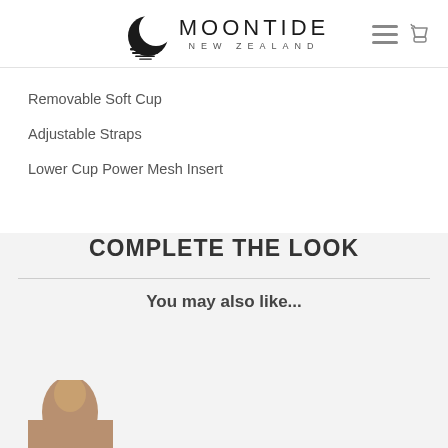[Figure (logo): Moontide New Zealand logo with crescent moon graphic and horizontal lines]
Removable Soft Cup
Adjustable Straps
Lower Cup Power Mesh Insert
COMPLETE THE LOOK
You may also like...
[Figure (photo): Partial photo of a woman from shoulders up, bottom of page]